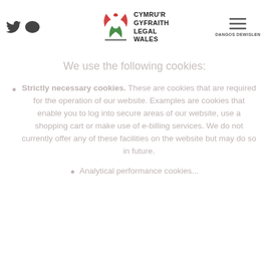[Figure (logo): Cymru'r Gyfraith / Legal Wales logo with stylized dragon/scales graphic in red and green]
DANGOS DEWISLEN
We use the following cookies:
Strictly necessary cookies. These are cookies that are required for the operation of our website. Examples are cookies that enable you to log into secure areas of our website, use a shopping cart or make use of e-billing services. We do not currently offer any of these facilities on the website but may do so in future.
Analytical performance cookies...